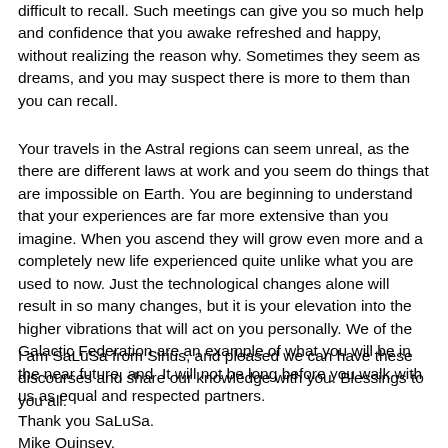difficult to recall. Such meetings can give you so much help and confidence that you awake refreshed and happy, without realizing the reason why. Sometimes they seem as dreams, and you may suspect there is more to them than you can recall.
Your travels in the Astral regions can seem unreal, as the there are different laws at work and you seem do things that are impossible on Earth. You are beginning to understand that your experiences are far more extensive than you imagine. When you ascend they will grow even more and a completely new life experienced quite unlike what you are used to now. Just the technological changes alone will result in so many changes, but it is your elevation into the higher vibrations that will act on you personally. We of the Galactic Federation are an example of what you will be in the near future, and  It will not be long before you walk with us as equal and respected partners.
I am SaLuSa from Sirius, and pleased we can have these discourses and share our knowledge with you. Blessings to you all.
Thank you SaLuSa.
Mike Quinsey.